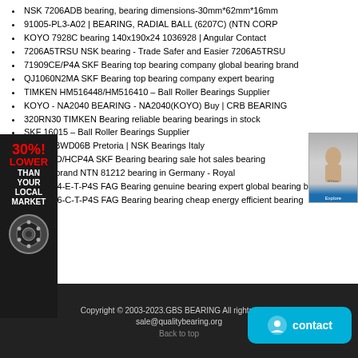NSK 7206ADB bearing, bearing dimensions-30mm*62mm*16mm
91005-PL3-A02 | BEARING, RADIAL BALL (6207C) (NTN CORP
KOYO 7928C bearing 140x190x24 1036928 | Angular Contact
7206A5TRSU NSK bearing - Trade Safer and Easier 7206A5TRSU
71909CE/P4A SKF Bearing top bearing company global bearing brand
QJ1060N2MA SKF Bearing top bearing company expert bearing
TIMKEN HM516448/HM516410 – Ball Roller Bearings Supplier
KOYO - NA2040 BEARING - NA2040(KOYO) Buy | CRB BEARING
320RN30 TIMKEN Bearing reliable bearing bearings in stock
SKF 16015 – Ball Roller Bearings Supplier
NSK 43BWD06B Pretoria | NSK Bearings Italy
S7001CD/HCP4A SKF Bearing bearing sale hot sales bearing
famous brand NTN 81212 bearing in Germany - Royal
HCB7034-E-T-P4S FAG Bearing genuine bearing expert global bearing brand
HCB7006-C-T-P4S FAG Bearing bearing cheap energy efficient bearing
Copyright © 2003-2023.GBS BEARING All rights reserved sale@qualitybearing.org Back to top